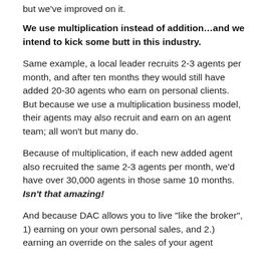but we've improved on it.
We use multiplication instead of addition…and we intend to kick some butt in this industry.
Same example, a local leader recruits 2-3 agents per month, and after ten months they would still have added 20-30 agents who earn on personal clients.  But because we use a multiplication business model, their agents may also recruit and earn on an agent team; all won't but many do.
Because of multiplication, if each new added agent also recruited the same 2-3 agents per month, we'd have over 30,000 agents in those same 10 months.  Isn't that amazing!
And because DAC allows you to live "like the broker", 1) earning on your own personal sales, and 2.) earning an override on the sales of your agent